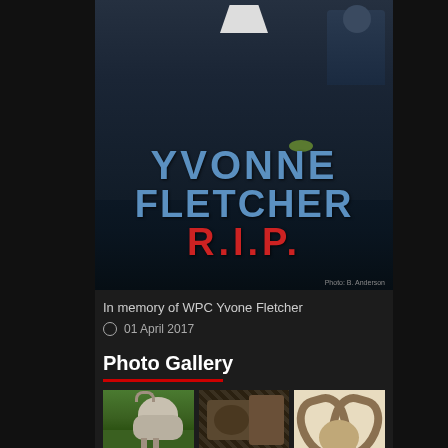[Figure (photo): Memorial painting showing a Metropolitan Police officer uniform with badge, text 'YVONNE FLETCHER R.I.P.' in blue and red letters on dark background, with small police officer figure in upper right]
In memory of WPC Yvone Fletcher
01 April 2017
Photo Gallery
[Figure (photo): Thumbnail photo of a goat or sheep on grass]
[Figure (photo): Thumbnail photo of machinery or engine interior]
[Figure (photo): Thumbnail photo of ram horns on white background]